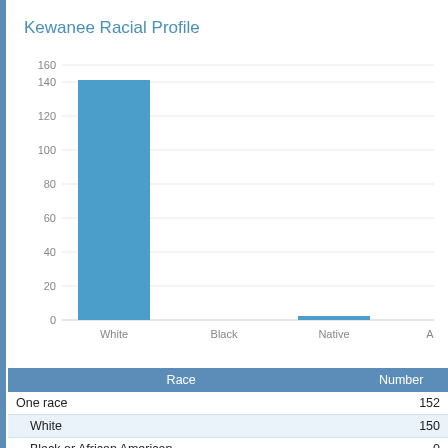Kewanee Racial Profile
[Figure (bar-chart): Kewanee Racial Profile]
| Race | Number |
| --- | --- |
| One race | 152 |
| White | 150 |
| Black or African American | 0 |
| American Indian and Alaska Native | 2 |
| Asian | 0 |